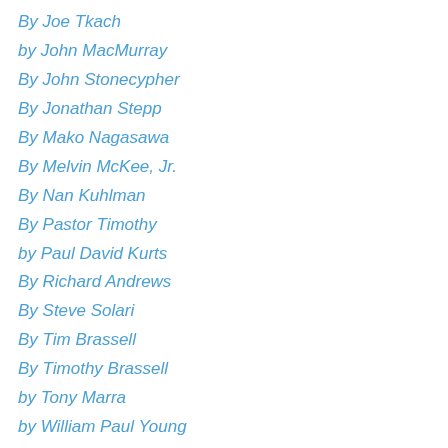By Joe Tkach
by John MacMurray
By John Stonecypher
By Jonathan Stepp
By Mako Nagasawa
By Melvin McKee, Jr.
By Nan Kuhlman
By Pastor Timothy
by Paul David Kurts
By Richard Andrews
By Steve Solari
By Tim Brassell
By Timothy Brassell
by Tony Marra
by William Paul Young
By Xiara Lee
Children's Ministry
Christian Living
Christianity
Christmas